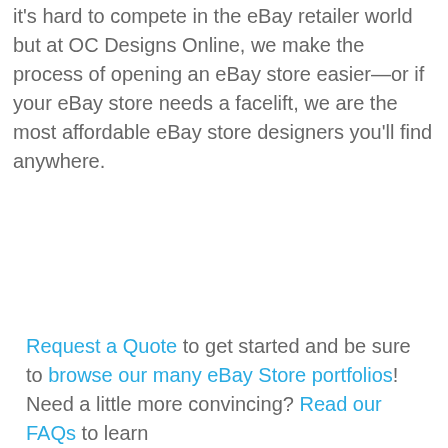it's hard to compete in the eBay retailer world but at OC Designs Online, we make the process of opening an eBay store easier—or if your eBay store needs a facelift, we are the most affordable eBay store designers you'll find anywhere.
Request a Quote to get started and be sure to browse our many eBay Store portfolios! Need a little more convincing? Read our FAQs to learn